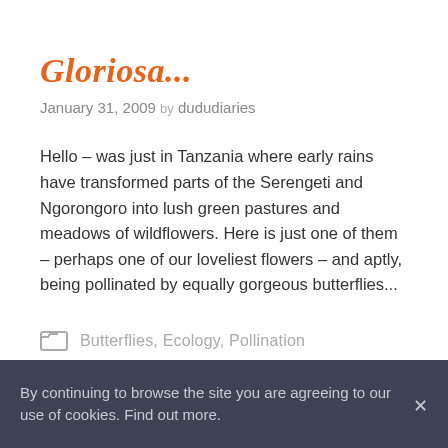Gloriosa...
January 31, 2009 by dududiaries
Hello – was just in Tanzania where early rains have transformed parts of the Serengeti and Ngorongoro into lush green pastures and meadows of wildflowers. Here is just one of them – perhaps one of our loveliest flowers – and aptly, being pollinated by equally gorgeous butterflies...
Butterflies, Ecology, Pollination
By continuing to browse the site you are agreeing to our use of cookies. Find out more.